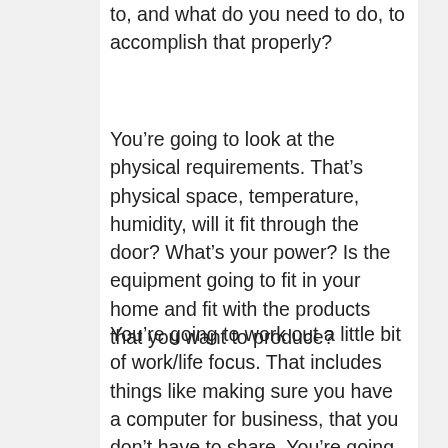to, and what do you need to do, to accomplish that properly?
You're going to look at the physical requirements. That's physical space, temperature, humidity, will it fit through the door? What's your power? Is the equipment going to fit in your home and fit with the products that you want to produce?
You're going to work out a little bit of work/life focus. That includes things like making sure you have a computer for business, that you don't have to share. You're going to follow Marc's “no laundry” rule, so you're going to have set times where you do things for home, because you're